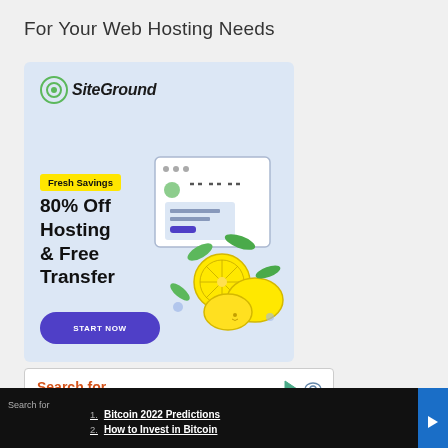For Your Web Hosting Needs
[Figure (infographic): SiteGround advertisement banner with light blue background. Shows SiteGround logo at top left, 'Fresh Savings' yellow badge, bold text '80% Off Hosting & Free Transfer', a blue 'START NOW' button, and an illustration of a browser window with lemons on the right side.]
[Figure (infographic): Search widget with orange 'Search for' text and icons, partially visible. Below it a dark bar showing numbered list items: 1. Bitcoin 2022 Predictions, 2. How to Invest in Bitcoin. 'Search for' label on the left and a blue rectangle on the right.]